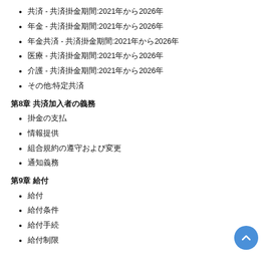共済 - 共済掛金期間:2021年から2026年
年金 - 共済掛金期間:2021年から2026年
年金共済 - 共済掛金期間:2021年から2026年
医療 - 共済掛金期間:2021年から2026年
介護 - 共済掛金期間:2021年から2026年
その他:特定共済
第8章 共済加入者の義務
掛金の支払
情報提供
組合規約の遵守および変更
通知義務
第9章 給付
給付
給付条件
給付手続
給付制限